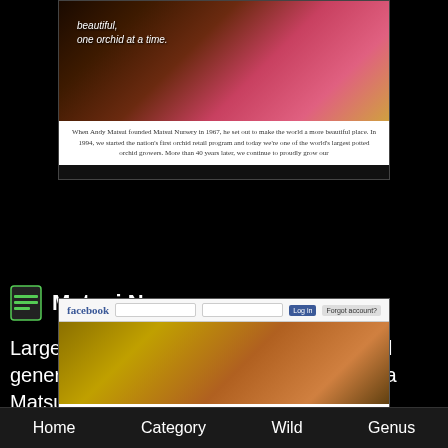[Figure (screenshot): Screenshot of Matsui Nursery website showing orchid photo at top with italic text 'beautiful, one orchid at a time' and a paragraph of descriptive text below]
Matsui Nursery
Large wholesale producer of several orchid genera. Established 1967. Andy and Teresa Matsui. Salinas, California, United States.
[Figure (screenshot): Screenshot of Facebook page for Matsui Nursery showing Facebook logo navigation bar and orchid photo]
Home   Category   Wild   Genus